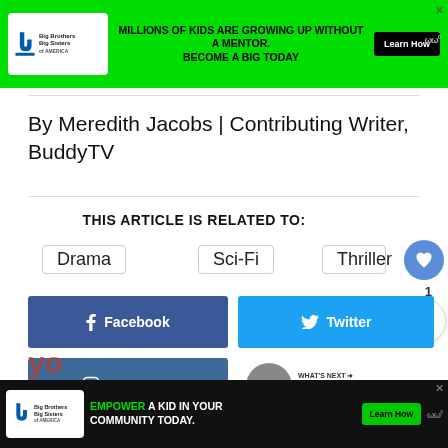[Figure (screenshot): Big Brothers Big Sisters advertisement banner at top: green background with logo, text 'MILLIONS OF KIDS ARE GROWING UP WITHOUT A MENTOR. BECOME A BIG TODAY', Learn How button]
By Meredith Jacobs | Contributing Writer, BuddyTV
THIS ARTICLE IS RELATED TO:
Drama
Sci-Fi
Thriller
[Figure (screenshot): Social share buttons: Facebook, Twitter, Instagram, heart/like button with count 1, share icon]
[Figure (screenshot): What's Next widget: 'Agents of SHIELD' Mid...]
[Figure (screenshot): Big Brothers Big Sisters advertisement banner at bottom: dark background with logo, text 'EMPOWER A KID IN YOUR COMMUNITY TODAY.', Learn How button]